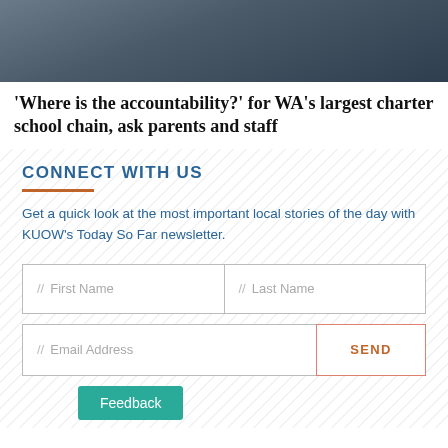[Figure (photo): Partial photo of a person in a dark blue jacket against a dark background with fence/railing]
'Where is the accountability?' for WA's largest charter school chain, ask parents and staff
CONNECT WITH US
Get a quick look at the most important local stories of the day with KUOW's Today So Far newsletter.
// First Name  // Last Name  // Email Address  SEND
Feedback